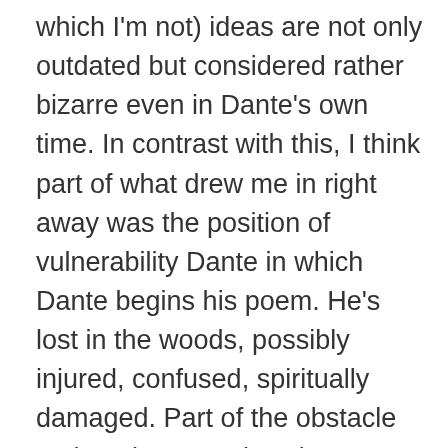which I'm not) ideas are not only outdated but considered rather bizarre even in Dante's own time. In contrast with this, I think part of what drew me in right away was the position of vulnerability Dante in which Dante begins his poem. He's lost in the woods, possibly injured, confused, spiritually damaged. Part of the obstacle to throwing ourselves into literature is the intimidation factor. The fact that Dante is the protagonist, and that he's in such a jam, makes for a poem and a person we can all relate to.